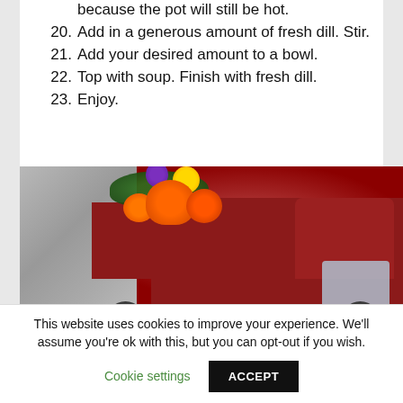because the pot will still be hot.
20. Add in a generous amount of fresh dill. Stir.
21. Add your desired amount to a bowl.
22. Top with soup. Finish with fresh dill.
23. Enjoy.
[Figure (photo): A decorative red toy truck figurine filled with autumn harvest pumpkins, gourds, and colorful flowers, placed on a stone or concrete surface.]
This website uses cookies to improve your experience. We'll assume you're ok with this, but you can opt-out if you wish.
Cookie settings   ACCEPT